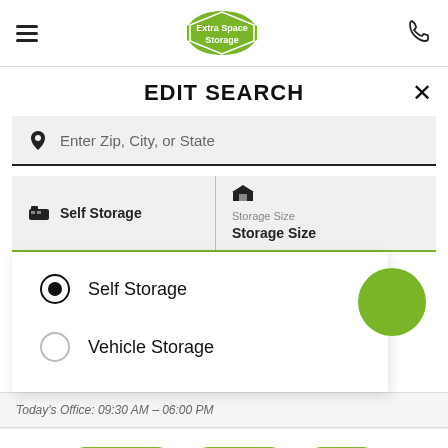[Figure (logo): Extra Space Storage green logo with white text]
EDIT SEARCH
Enter Zip, City, or State
Self Storage
Storage Size / Storage Size
Self Storage (selected radio)
Vehicle Storage
Today's Office: 09:30 AM - 06:00 PM
MORE INFO
REVIEWS
FAQ'S